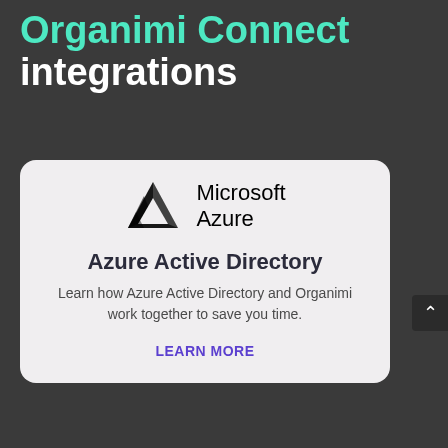Organimi Connect integrations
[Figure (logo): Microsoft Azure logo: black triangular mountain/lambda symbol next to the text 'Microsoft Azure']
Azure Active Directory
Learn how Azure Active Directory and Organimi work together to save you time.
LEARN MORE